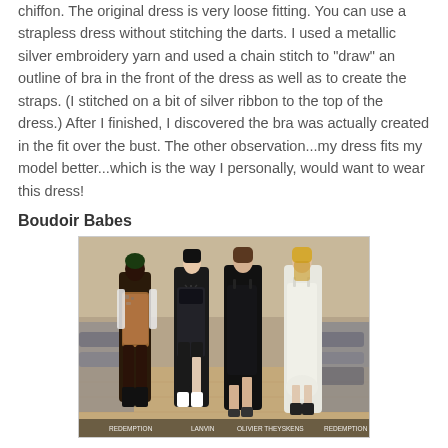chiffon. The original dress is very loose fitting. You can use a strapless dress without stitching the darts. I used a metallic silver embroidery yarn and used a chain stitch to "draw" an outline of bra in the front of the dress as well as to create the straps. (I stitched on a bit of silver ribbon to the top of the dress.) After I finished, I discovered the bra was actually created in the fit over the bust. The other observation...my dress fits my model better...which is the way I personally, would want to wear this dress!
Boudoir Babes
[Figure (photo): Fashion runway photo showing four female models walking in lingerie-inspired dresses. Labels at bottom read: REDEMPTION, LANVIN, OLIVIER THEYSKENS, REDEMPTION.]
Designers hit the lingerie drawer for this trend. The slip dress is back! (Did it ever go away?!!) This time around, look for it to be updated, luxe versions along the way with some unexpected details.